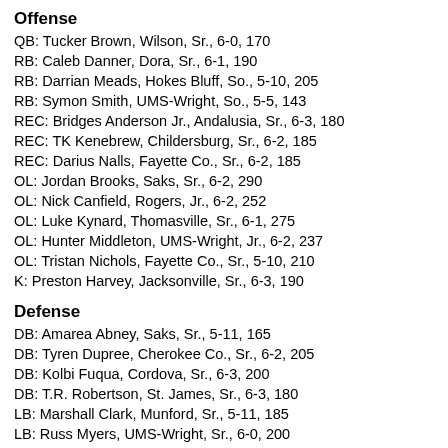Offense
QB: Tucker Brown, Wilson, Sr., 6-0, 170
RB: Caleb Danner, Dora, Sr., 6-1, 190
RB: Darrian Meads, Hokes Bluff, So., 5-10, 205
RB: Symon Smith, UMS-Wright, So., 5-5, 143
REC: Bridges Anderson Jr., Andalusia, Sr., 6-3, 180
REC: TK Kenebrew, Childersburg, Sr., 6-2, 185
REC: Darius Nalls, Fayette Co., Sr., 6-2, 185
OL: Jordan Brooks, Saks, Sr., 6-2, 290
OL: Nick Canfield, Rogers, Jr., 6-2, 252
OL: Luke Kynard, Thomasville, Sr., 6-1, 275
OL: Hunter Middleton, UMS-Wright, Jr., 6-2, 237
OL: Tristan Nichols, Fayette Co., Sr., 5-10, 210
K: Preston Harvey, Jacksonville, Sr., 6-3, 190
Defense
DB: Amarea Abney, Saks, Sr., 5-11, 165
DB: Tyren Dupree, Cherokee Co., Sr., 6-2, 205
DB: Kolbi Fuqua, Cordova, Sr., 6-3, 200
DB: T.R. Robertson, St. James, Sr., 6-3, 180
LB: Marshall Clark, Munford, Sr., 5-11, 185
LB: Russ Myers, UMS-Wright, Sr., 6-0, 200
LB: Riley Russell, Cherokee Co., Sr., 6-1, 195
LB: Caleb Storie, Rogers, Sr., 6-0, 215
DL: Jaylin Brackett, Madison Acad., Sr., 5-10, 240
DL: ...